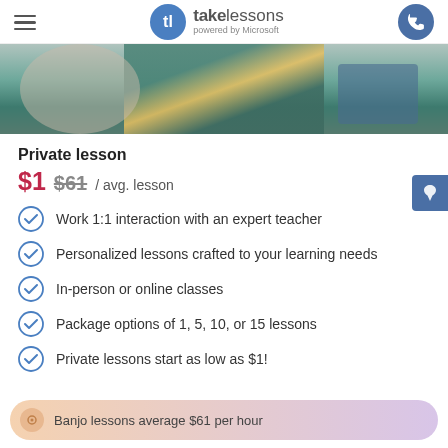takelessons powered by Microsoft
[Figure (photo): Person wearing a teal jacket with a yellow stripe, seated indoors, blurred background]
Private lesson
$1 $61 / avg. lesson
Work 1:1 interaction with an expert teacher
Personalized lessons crafted to your learning needs
In-person or online classes
Package options of 1, 5, 10, or 15 lessons
Private lessons start as low as $1!
Banjo lessons average $61 per hour